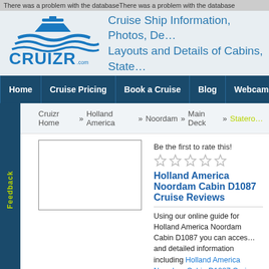There was a problem with the databaseThere was a problem with the database
[Figure (logo): Cruizr.com logo with blue cruise ship graphic and text 'CRUIZR.com']
Cruise Ship Information, Photos, De... Layouts and Details of Cabins, State...
Home | Cruise Pricing | Book a Cruise | Blog | Webcams | Ship T...
Feedback
Cruizr Home » Holland America » Noordam » Main Deck » Statero...
[Figure (other): Empty advertisement box with border]
Be the first to rate this!
[Figure (other): Five empty star rating icons]
Holland America Noordam Cabin D1087 Cruise Reviews
Using our online guide for Holland America Noordam Cabin D1087 you can acces... and detailed information including Holland America Noordam Cabin D1087 Crui...